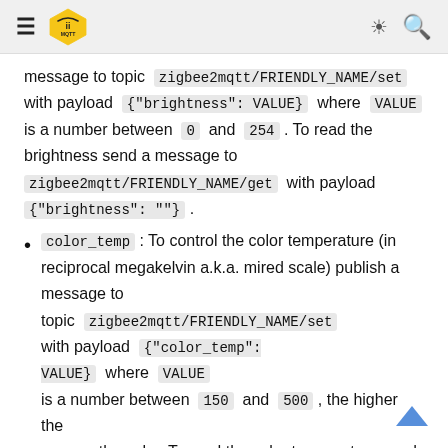MQTT zigbee2mqtt navigation header
message to topic zigbee2mqtt/FRIENDLY_NAME/set with payload {"brightness": VALUE} where VALUE is a number between 0 and 254 . To read the brightness send a message to zigbee2mqtt/FRIENDLY_NAME/get with payload {"brightness": ""} .
color_temp : To control the color temperature (in reciprocal megakelvin a.k.a. mired scale) publish a message to topic zigbee2mqtt/FRIENDLY_NAME/set with payload {"color_temp": VALUE} where VALUE is a number between 150 and 500 , the higher the warmer the color. To read the color temperature send a message to zigbee2mqtt/FRIENDLY_NAME/get with payload {"color_temp": ""} . Besides the numeric